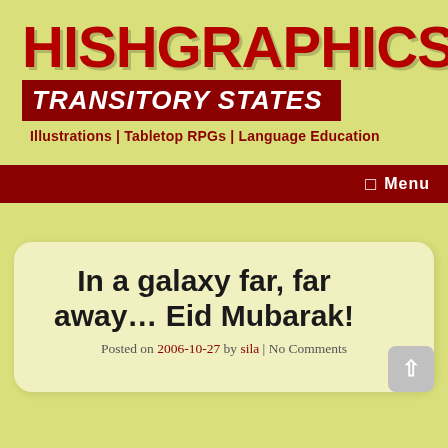HISHGRAPHICS
TRANSITORY STATES
Illustrations | Tabletop RPGs | Language Education
☰  Menu
In a galaxy far, far away… Eid Mubarak!
Posted on 2006-10-27 by sila | No Comments